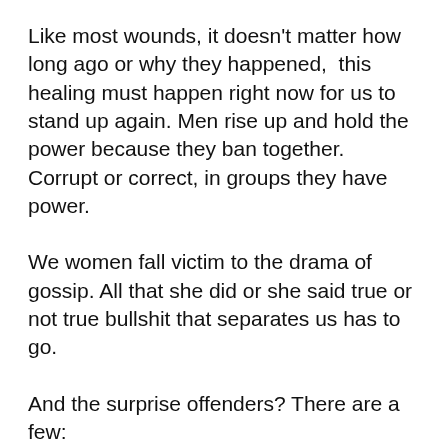Like most wounds, it doesn't matter how long ago or why they happened,  this healing must happen right now for us to stand up again. Men rise up and hold the power because they ban together. Corrupt or correct, in groups they have power.
We women fall victim to the drama of gossip. All that she did or she said true or not true bullshit that separates us has to go.
And the surprise offenders? There are a few:
Sometimes these women show up as the Prana and flowy scarf outfitted women in charge of the local rise of sisterhood and call to the feminine groups. They will sing the song of sisterhood and welcome women into their circles but if you cross another sister in the tribe, they have no interest in the bond.